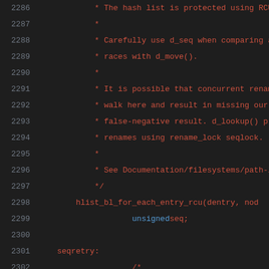[Figure (screenshot): Source code viewer showing lines 2286-2307 of a C kernel file with line numbers in gray on the left and code/comments in red and blue on dark background]